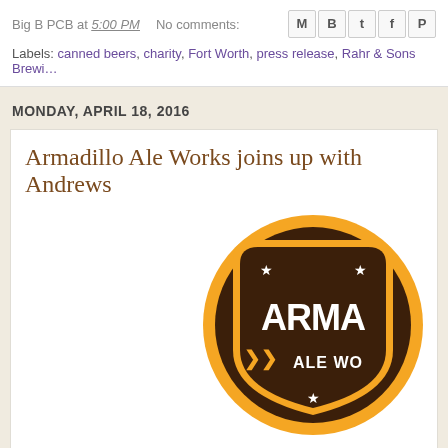Big B PCB at 5:00 PM   No comments:
Labels: canned beers, charity, Fort Worth, press release, Rahr & Sons Brewing
MONDAY, APRIL 18, 2016
Armadillo Ale Works joins up with Andrews
[Figure (logo): Armadillo Ale Works logo — brown rounded shield shape with orange border, white text reading ARMADILLO ALE WORKS, orange wheat chevrons, and white stars]
Image courtesy of Armadillo
Following recent news of plans to re-introduce itself into the market